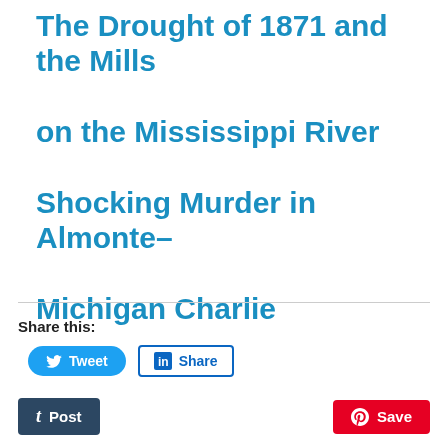The Drought of 1871 and the Mills on the Mississippi River Shocking Murder in Almonte– Michigan Charlie
Share this:
[Figure (other): Tweet button (Twitter/X share button, blue rounded rectangle)]
[Figure (other): LinkedIn Share button (blue outline rectangle)]
[Figure (other): Tumblr Post button (dark blue rectangle)]
[Figure (other): Pinterest Save button (red rectangle)]